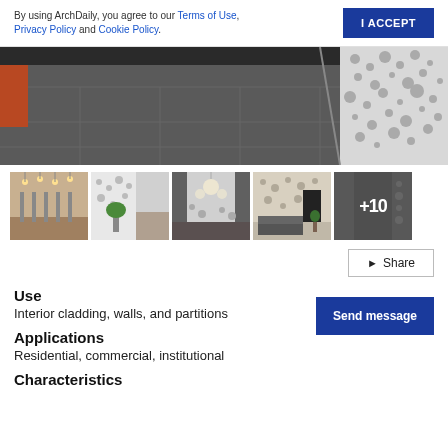By using ArchDaily, you agree to our Terms of Use, Privacy Policy and Cookie Policy.
[Figure (photo): Hero image of a modern interior with dark tile floor and white perforated decorative wall]
[Figure (photo): Thumbnail 1: restaurant interior with pendant lights and bar stools]
[Figure (photo): Thumbnail 2: interior with white perforated wall cladding and staircase with plant]
[Figure (photo): Thumbnail 3: interior with perforated wall and large chandelier]
[Figure (photo): Thumbnail 4: lobby with perforated wall panels and seating]
[Figure (photo): Thumbnail 5: corridor with +10 overlay indicating more photos]
Share
Use
Interior cladding, walls, and partitions
Applications
Residential, commercial, institutional
Characteristics